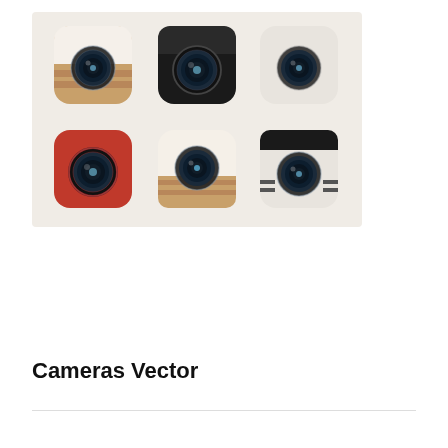[Figure (illustration): Six camera app icons arranged in a 3x2 grid on a beige/cream background. Top row: tan/brown and white retro camera icon, black square camera icon, plain white camera icon. Bottom row: red square camera icon, tan/white retro camera icon, dark/black camera icon. All icons feature realistic camera lens graphics.]
Cameras Vector